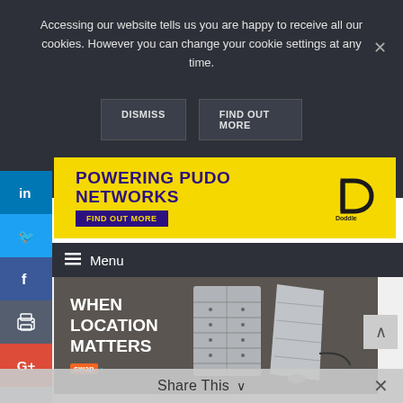Accessing our website tells us you are happy to receive all our cookies. However you can change your cookie settings at any time.
DISMISS
FIND OUT MORE
[Figure (infographic): Yellow banner advertisement for Doddle: 'POWERING PUDO NETWORKS' with 'FIND OUT MORE' button and Doddle logo]
Menu
[Figure (infographic): Social media sidebar with LinkedIn, Twitter, Facebook, print, Google+ and more buttons]
[Figure (photo): Advertisement image showing parcel lockers with text 'WHEN LOCATION MATTERS' and swap logo]
Share This